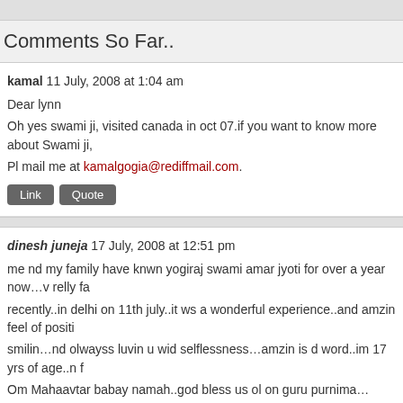Comments So Far..
kamal 11 July, 2008 at 1:04 am
Dear lynn
Oh yes swami ji, visited canada in oct 07.if you want to know more about Swami ji,
Pl mail me at kamalgogia@rediffmail.com.
dinesh juneja 17 July, 2008 at 12:51 pm
me nd my family have knwn yogiraj swami amar jyoti for over a year now…v relly fa recently..in delhi on 11th july..it ws a wonderful experience..and amzin feel of positi smilin…nd olwayss luvin u wid selflessness…amzin is d word..im 17 yrs of age..n f Om Mahaavtar babay namah..god bless us ol on guru purnima…
tc
Om